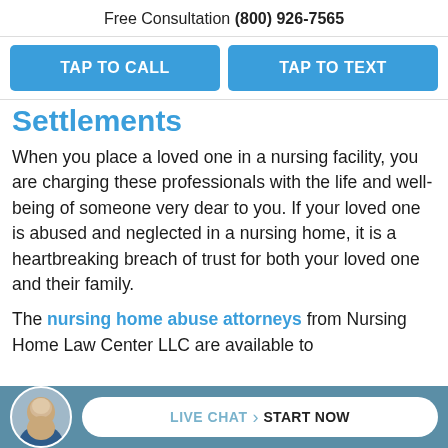Free Consultation (800) 926-7565
TAP TO CALL | TAP TO TEXT
Settlements
When you place a loved one in a nursing facility, you are charging these professionals with the life and well-being of someone very dear to you. If your loved one is abused and neglected in a nursing home, it is a heartbreaking breach of trust for both your loved one and their family.
The nursing home abuse attorneys from Nursing Home Law Center LLC are available to
LIVE CHAT > START NOW